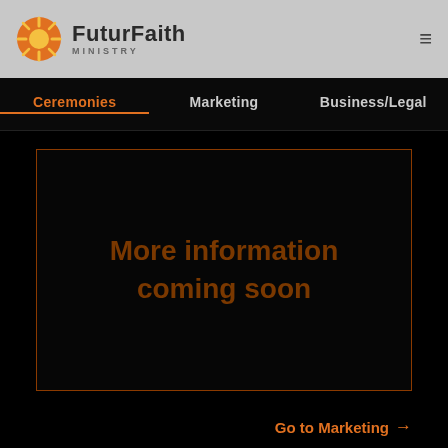FuturFaith MINISTRY
Ceremonies | Marketing | Business/Legal
More information coming soon
Go to Marketing →